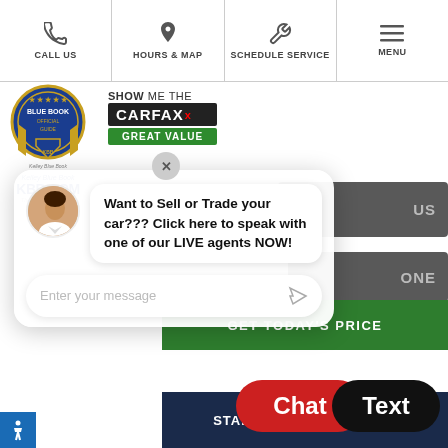CALL US | HOURS & MAP | SCHEDULE SERVICE | MENU
[Figure (logo): Kelley Blue Book official guide badge with KBB.COM text and 'The Trusted Resource' tagline]
[Figure (logo): Show Me The CARFAX Great Value badge]
Want to Sell or Trade your car??? Click here to speak with one of our LIVE agents NOW!
Enter your message
GET TODAY'S PRICE
Chat
Text
START BUYING PROCESS